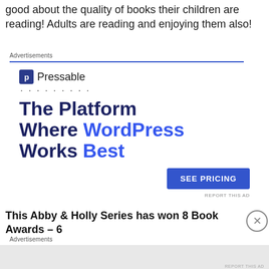good about the quality of books their children are reading! Adults are reading and enjoying them also!
Advertisements
[Figure (infographic): Pressable advertisement banner. Shows Pressable logo (P icon and wordmark), dots loading indicator, headline text 'The Platform Where WordPress Works Best' with 'WordPress' and 'Best' in blue. Features a blue 'SEE PRICING' button. Gray 'REPORT THIS AD' text at bottom right.]
This Abby & Holly Series has won 8 Book Awards – 6
Advertisements
[Figure (infographic): Second advertisement area, gray background, with REPORT THIS AD text at bottom right.]